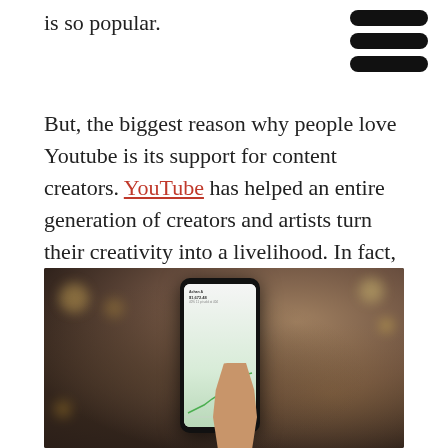is so popular.
But, the biggest reason why people love Youtube is its support for content creators. YouTube has helped an entire generation of creators and artists turn their creativity into a livelihood. In fact, it paid more than $30 billion to creators, artists, and media companies over the last three years.
[Figure (photo): A person holding a smartphone displaying a financial chart/trading app screen, with a blurred dark background suggesting an indoor setting with bokeh lighting effects.]